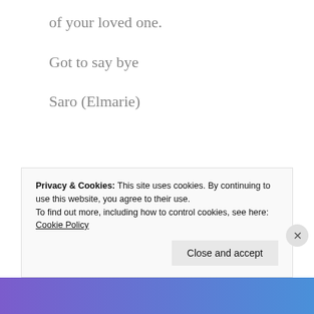of your loved one.
Got to say bye
Saro (Elmarie)
Share this
Privacy & Cookies: This site uses cookies. By continuing to use this website, you agree to their use.
To find out more, including how to control cookies, see here:
Cookie Policy
Close and accept